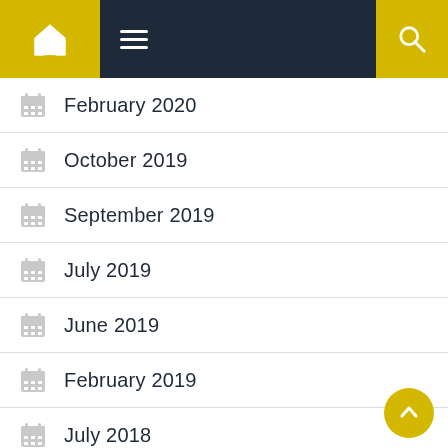Navigation bar with home icon, hamburger menu, and search icon
February 2020
October 2019
September 2019
July 2019
June 2019
February 2019
July 2018
June 2018
December 2017